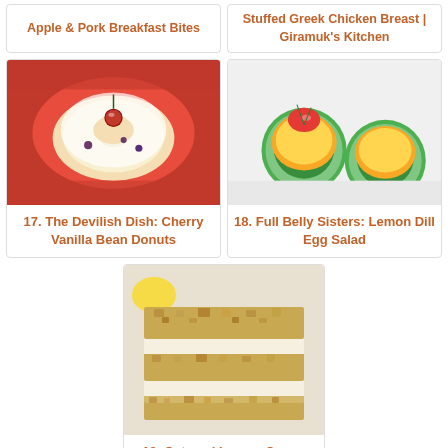Apple & Pork Breakfast Bites
Stuffed Greek Chicken Breast | Giramuk's Kitchen
[Figure (photo): Cherry vanilla bean donut with white frosting and a cherry on top, on a red plate]
17. The Devilish Dish: Cherry Vanilla Bean Donuts
[Figure (photo): Lemon dill egg salad served in cucumber cups with a tomato on top]
18. Full Belly Sisters: Lemon Dill Egg Salad
[Figure (photo): Stacked oatmeal lemon creme bars with crumbly crust and cream filling]
19. Oatmeal Lemon Creme Bars – Belle of the Kitchen